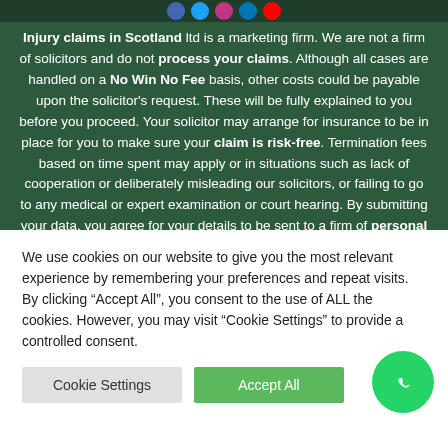[Figure (infographic): Social media icons row (Facebook, Twitter, Instagram, LinkedIn, YouTube) on dark green bar]
Injury claims in Scotland ltd is a marketing firm. We are not a firm of solicitors and do not process your claims. Although all cases are handled on a No Win No Fee basis, other costs could be payable upon the solicitor's request. These will be fully explained to you before you proceed. Your solicitor may arrange for insurance to be in place for you to make sure your claim is risk-free. Termination fees based on time spent may apply or in situations such as lack of cooperation or deliberately misleading our solicitors, or failing to go to any medical or expert examination or court hearing. By submitting your data, you agree for your details to be sent to a firm of personal injury solicitors regulated by the Solicitors Regulation Authority. So
We use cookies on our website to give you the most relevant experience by remembering your preferences and repeat visits. By clicking “Accept All”, you consent to the use of ALL the cookies. However, you may visit “Cookie Settings” to provide a controlled consent.